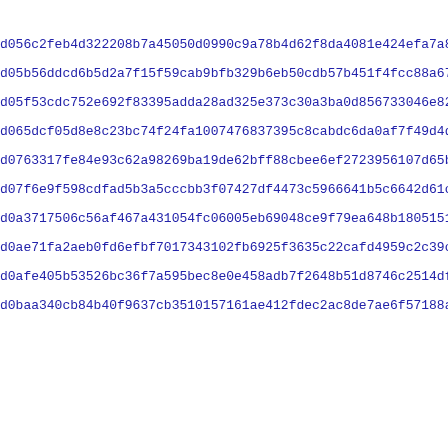d056c2feb4d322208b7a45050d0990c9a78b4d62f8da4081e424efa7a86de
d05b56ddcd6b5d2a7f15f59cab9bfb329b6eb50cdb57b451f4fcc88a67e77
d05f53cdc752e692f83395adda28ad325e373c30a3ba0d856733046e82ee6
d065dcf05d8e8c23bc74f24fa1007476837395c8cabdc6da0af7f49d4d13f
d0763317fe84e93c62a98269ba19de62bff88cbee6ef2723956107d65b9c3
d07f6e9f598cdfad5b3a5cccbb3f07427df4473c5966641b5c6642d61c267
d0a3717506c56af467a431054fc06005eb69048ce9f79ea648b18051517e4
d0ae71fa2aeb0fd6efbf7017343102fb6925f3635c22cafd4959c2c39cb99
d0afe405b53526bc36f7a595bec8e0e458adb7f2648b51d8746c2514df472
d0baa340cb84b40f9637cb3510157161ae412fdec2ac8de7ae6f57188ad0d